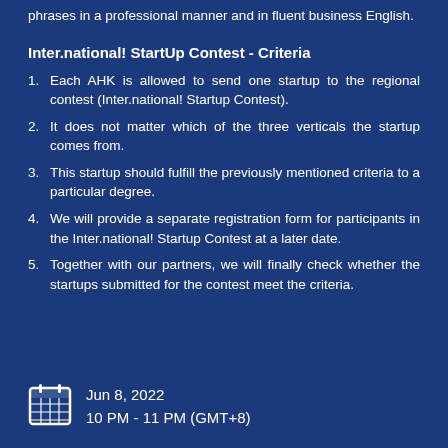phrases in a professional manner and in fluent business English.
Inter.national! StartUp Contest - Criteria
Each AHK is allowed to send one startup to the regional contest (Inter.national! Startup Contest).
It does not matter which of the three verticals the startup comes from.
This startup should fulfill the previously mentioned criteria to a particular degree.
We will provide a separate registration form for participants in the Inter.national! Startup Contest at a later date.
Together with our partners, we will finally check whether the startups submitted for the contest meet the criteria.
Jun 8, 2022
10 PM - 11 PM (GMT+8)